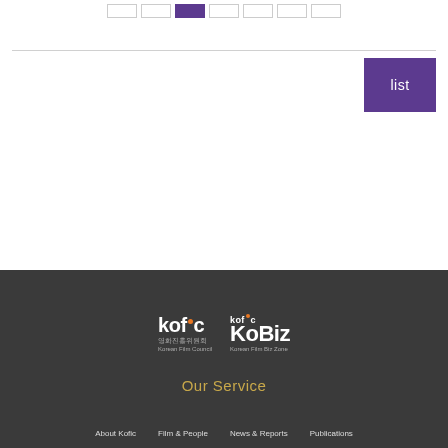Navigation pagination buttons (active: third button)
list
[Figure (logo): KOFIC logo with orange dot, Korean text 영화진흥위원회 and English Korean Film Council]
[Figure (logo): KoBiz logo with kofic wordmark above, Korean Film Biz Zone subtitle]
Our Service
About Kofic   Film & People   News & Reports   Publications